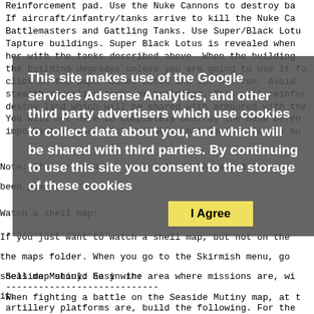Reinforcement pad. Use the Nuke Cannons to destroy ba...
If aircraft/infantry/tanks arrive to kill the Nuke Ca...
Battlemasters and Gattling Tanks. Use Super/Black Lotu...
Tapture buildings. Super Black Lotus is revealed when ...
her with the tanks described above. When the building ...
the building degrades unless you are going to use it f...
click on the Super/Black Lotus and let her run. Avoid ...
stealth-revealing tanks or buildings. This will reinfor...
destoy land which will be shared with armoured with the...
You will not have to completely destroy the Base Defen...
important in your victory. Note that Speaker Towers mu...
Note: If your opponent is U.S.A. or China and has supe...
been placed first.
Watch a shell map:
-------------------
If you just want to watch a shell map, but not on the ...
the maps folder. When you go to the Skirmish menu, go ...
shell map should be in the area where missions are, wi...
it.
Seaside Mutiny: Easy win:
----------------------------
When fighting a battle on the Seaside Mutiny map, at t...
artillery platforms are, build the following. For the ...
and a Bunker filled with Rocket Troopers. For U.S.A...
Base with Rangers. For GLA, build two Stingers and a T...
artillery platforms, then repeat the defense pattern ...
This site makes use of the Google services Adsense Analytics, and other third party advertisers which use cookies to collect data about you, and which will be shared with third parties. By continuing to use this site you consent to the storage of these cookies